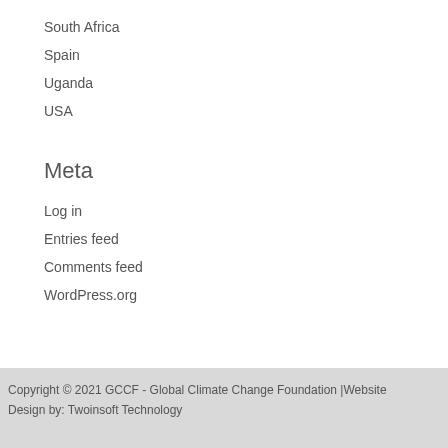South Africa
Spain
Uganda
USA
Meta
Log in
Entries feed
Comments feed
WordPress.org
Copyright © 2021 GCCF - Global Climate Change Foundation |Website Design by: Twoinsoft Technology